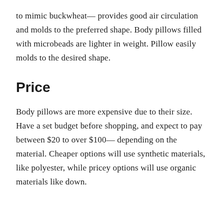to mimic buckwheat— provides good air circulation and molds to the preferred shape. Body pillows filled with microbeads are lighter in weight. Pillow easily molds to the desired shape.
Price
Body pillows are more expensive due to their size. Have a set budget before shopping, and expect to pay between $20 to over $100— depending on the material. Cheaper options will use synthetic materials, like polyester, while pricey options will use organic materials like down.